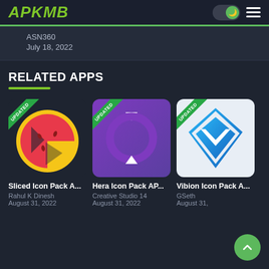APKMB
ASN360
July 18, 2022
RELATED APPS
[Figure (illustration): App icon for Sliced Icon Pack with watermelon slice design, yellow and red colors on dark background, with green UPDATED ribbon]
Sliced Icon Pack A...
Rahul K Dinesh
August 31, 2022
[Figure (illustration): App icon for Hera Icon Pack on purple gradient background with white circular arrow/sync icon, with green UPDATED ribbon]
Hera Icon Pack AP...
Creative Studio 14
August 31, 2022
[Figure (illustration): App icon for Vibion Icon Pack showing blue diamond/checkmark V shape on white background, with green UPDATED ribbon]
Vibion Icon Pack A...
GSeth
August 31,